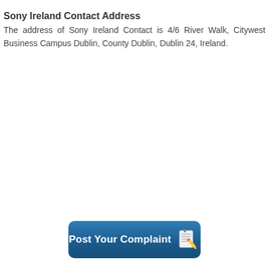Sony Ireland Contact Address
The address of Sony Ireland Contact is 4/6 River Walk, Citywest Business Campus Dublin, County Dublin, Dublin 24, Ireland.
[Figure (other): Blue rounded-rectangle button labeled 'Post Your Complaint' with a notepad-and-pencil icon on the right side]